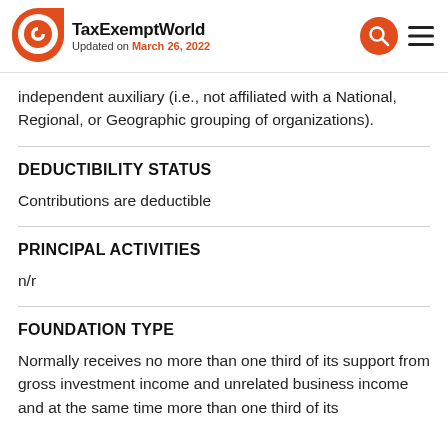TaxExemptWorld
Updated on March 26, 2022
independent auxiliary (i.e., not affiliated with a National, Regional, or Geographic grouping of organizations).
DEDUCTIBILITY STATUS
Contributions are deductible
PRINCIPAL ACTIVITIES
n/r
FOUNDATION TYPE
Normally receives no more than one third of its support from gross investment income and unrelated business income and at the same time more than one third of its